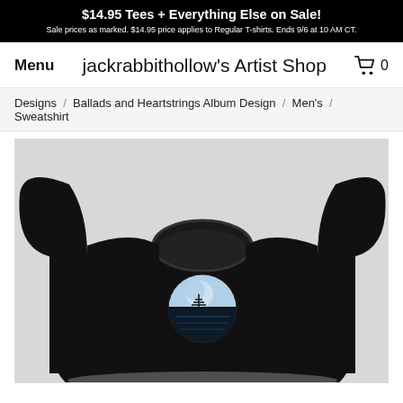$14.95 Tees + Everything Else on Sale! Sale prices as marked. $14.95 price applies to Regular T-shirts. Ends 9/6 at 10 AM CT.
jackrabbithollow's Artist Shop
Menu
0
Designs / Ballads and Heartstrings Album Design / Men's / Sweatshirt
[Figure (photo): Black crewneck sweatshirt with a circular album artwork design on the chest, showing a moonlit landscape reflected in water, on a light grey background.]